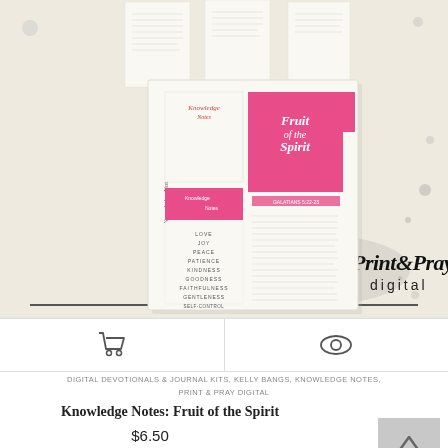[Figure (photo): Product mockup showing Knowledge Notes: Fruit of the Spirit digital kit. Multiple journal/devotional pages spread out with pink accent colors, alongside 'Illustrated Faith Print & Pray Digital' branding logo.]
[Figure (infographic): Two action icons: shopping cart icon on left half, eye/preview icon on right half, separated by a vertical divider line.]
DIGITAL DEVOTIONALS & JOURNAL KITS, KELLY BANGS, KNOWLEDGE NOTES, PRINT & PRAY DIGITAL
Knowledge Notes: Fruit of the Spirit
$6.50